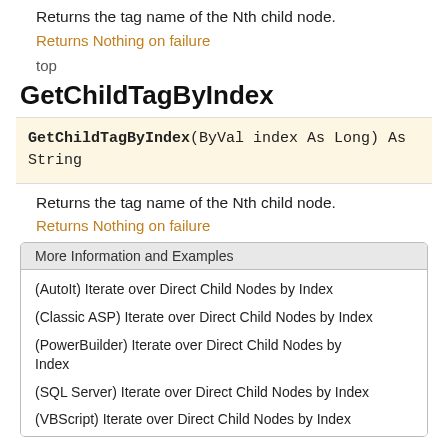Returns the tag name of the Nth child node.
Returns Nothing on failure
top
GetChildTagByIndex
GetChildTagByIndex(ByVal index As Long) As String
Returns the tag name of the Nth child node.
Returns Nothing on failure
| More Information and Examples |
| --- |
| (AutoIt) Iterate over Direct Child Nodes by Index |
| (Classic ASP) Iterate over Direct Child Nodes by Index |
| (PowerBuilder) Iterate over Direct Child Nodes by Index |
| (SQL Server) Iterate over Direct Child Nodes by Index |
| (VBScript) Iterate over Direct Child Nodes by Index |